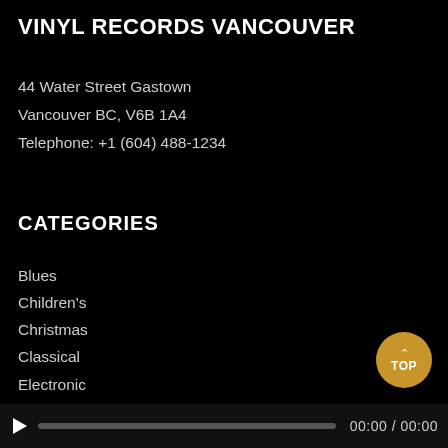VINYL RECORDS VANCOUVER
44 Water Street Gastown
Vancouver BC, V6B 1A4
Telephone: +1 (604) 488-1234
CATEGORIES
Blues
Children's
Christmas
Classical
Electronic
Folk, World & Country
Funk, Soul & RnB
Hip-Hop
Jazz
Pop
▶ 00:00 / 00:00